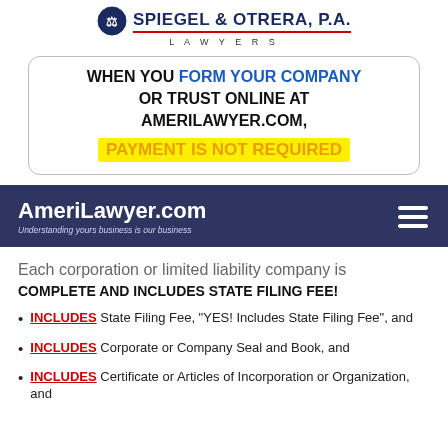SPIEGEL & OTRERA, P.A. LAWYERS
WHEN YOU FORM YOUR COMPANY OR TRUST ONLINE AT AMERILAWYER.COM, PAYMENT IS NOT REQUIRED
[Figure (screenshot): AmeriLawyer.com navigation bar with tagline 'Understanding yours business is our business' on dark blue background with hamburger menu icon]
Each corporation or limited liability company is
COMPLETE AND INCLUDES STATE FILING FEE!
INCLUDES State Filing Fee, "YES! Includes State Filing Fee", and
INCLUDES Corporate or Company Seal and Book, and
INCLUDES Certificate or Articles of Incorporation or Organization, and